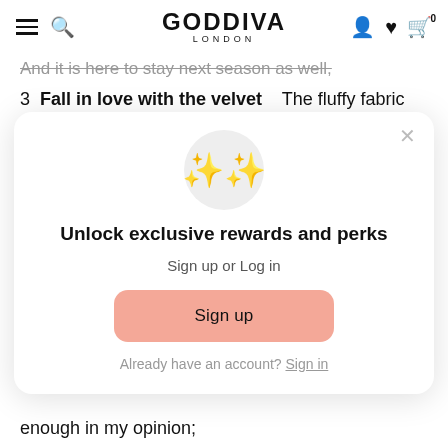GODDIVA LONDON
And it is here to stay next season as well,
3  Fall in love with the velvet    The fluffy fabric made its big come back this year. From classic black to bright yellow, purple   just imagine how beautiful and classy look you can
[Figure (screenshot): Modal popup with sparkle star emoji icon, title 'Unlock exclusive rewards and perks', subtitle 'Sign up or Log in', a pink Sign up button, and 'Already have an account? Sign in' link]
enough in my opinion;